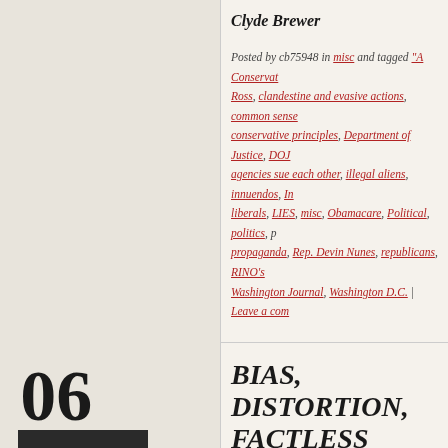Clyde Brewer
Posted by cb75948 in misc and tagged "A Conservative Ross, clandestine and evasive actions, common sense conservative principles, Department of Justice, DOJ agencies sue each other, illegal aliens, innuendos, In liberals, LIES, misc, Obamacare, Political, politics, p propaganda, Rep. Devin Nunes, republicans, RINO's Washington Journal, Washington D.C. | Leave a com
BIAS, DISTORTION, FACTLESS ACCUSA
A NEW LOW FOR